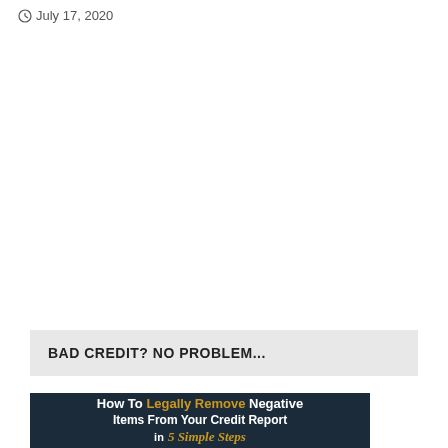July 17, 2020
BAD CREDIT? NO PROBLEM...
[Figure (illustration): Advertisement image with dark navy background showing text: 'How To Legally Remove Negative Items From Your Credit Report in 5 Simple Steps' with a partial image of a book at the bottom left]